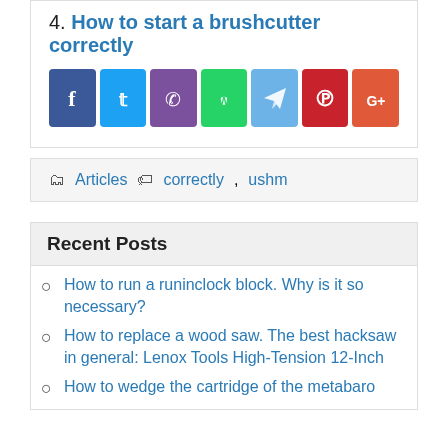4. How to start a brushcutter correctly
[Figure (infographic): Row of 7 social media share buttons: Facebook (dark blue), Twitter (light blue), Phone/Viber (purple), WhatsApp (green), Telegram (blue), Pinterest (red), Google+ (orange-red)]
Articles   correctly, ushm
Recent Posts
How to run a runinclock block. Why is it so necessary?
How to replace a wood saw. The best hacksaw in general: Lenox Tools High-Tension 12-Inch
How to wedge the cartridge of the metabaro